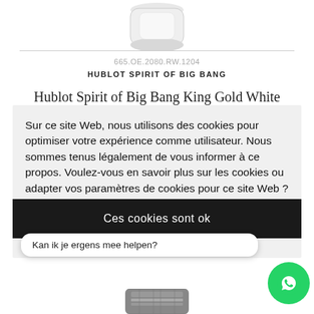[Figure (photo): Partial view of a Hublot watch at the top of the page, showing the upper portion of the watch case in light gray/silver tones]
665.OE.2080.RW.1204
HUBLOT SPIRIT OF BIG BANG
Hublot Spirit of Big Bang King Gold White
Sur ce site Web, nous utilisons des cookies pour optimiser votre expérience comme utilisateur. Nous sommes tenus légalement de vous informer à ce propos. Voulez-vous en savoir plus sur les cookies ou adapter vos paramètres de cookies pour ce site Web ?
Cliquez alors ici.
Ces cookies sont ok
Kan ik je ergens mee helpen?
[Figure (photo): WhatsApp chat bubble icon in green circle]